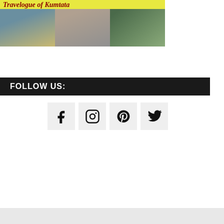[Figure (photo): Travelogue of Kumtata banner with collage of travel photos including a beach/sunset scene, an architectural structure, and a green forest path. Yellow banner title text in red italic font.]
FOLLOW US:
[Figure (infographic): Four social media icons in light grey square boxes: Facebook (f), Instagram (camera), Pinterest (P), Twitter (bird)]
[Figure (screenshot): Infolinks advertisement bar with dark background and infolinks logo, followed by a Groupon ad showing 'Groupon Official Site | Online Shopping Deals', 'Discover & Save with Over 300k of the Best Deals', 'www.groupon.com' with a blue arrow button and close X button.]